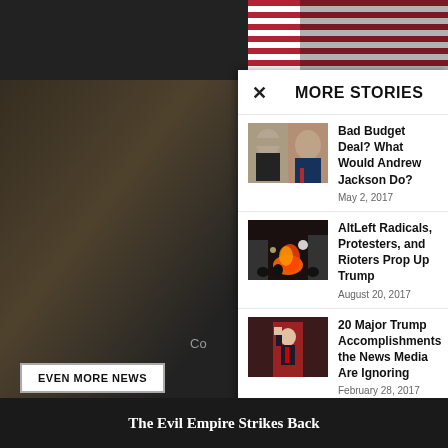MORE STORIES
Bad Budget Deal? What Would Andrew Jackson Do?
May 2, 2017
AltLeft Radicals, Protesters, and Rioters Prop Up Trump
August 20, 2017
20 Major Trump Accomplishments the News Media Are Ignoring
February 28, 2017
EVEN MORE NEWS
The Evil Empire Strikes Back